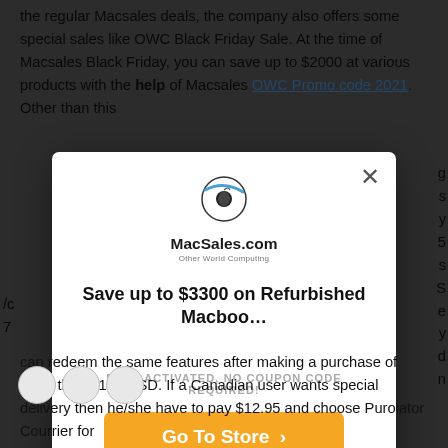the regular Macsales deals, the company also offers some special sales like OWC Black Friday Sale. At the time of Macsales Black Friday, you can save up to $2000 at various products with the help of Macsales OWC Promo code 2021. Other than this
[Figure (screenshot): A modal popup dialog from MacSales.com (Other World Computing) showing a deal. Contains the MacSales.com logo at the top, headline text 'Save up to $3300 on Refurbished Macboo...', text 'DEAL ACTIVATED, NO COUPON CODE REQUIRED!', an orange 'Go To Store >' button, and an X close button in the top-right corner.]
can redeem the same features after making a purchase of more than $199 USD. If a Canadian user wants special delivery then he/she have to pay $12.95 and choose Purolator Courrier for